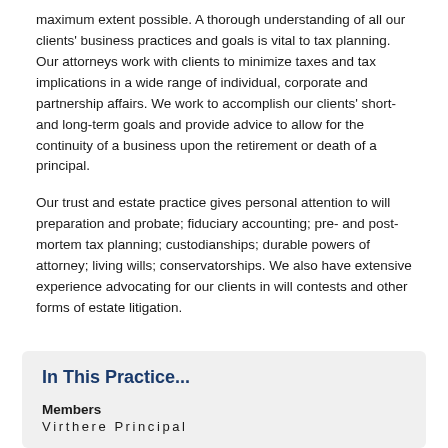maximum extent possible. A thorough understanding of all our clients' business practices and goals is vital to tax planning. Our attorneys work with clients to minimize taxes and tax implications in a wide range of individual, corporate and partnership affairs. We work to accomplish our clients' short- and long-term goals and provide advice to allow for the continuity of a business upon the retirement or death of a principal.
Our trust and estate practice gives personal attention to will preparation and probate; fiduciary accounting; pre- and post-mortem tax planning; custodianships; durable powers of attorney; living wills; conservatorships. We also have extensive experience advocating for our clients in will contests and other forms of estate litigation.
In This Practice...
Members